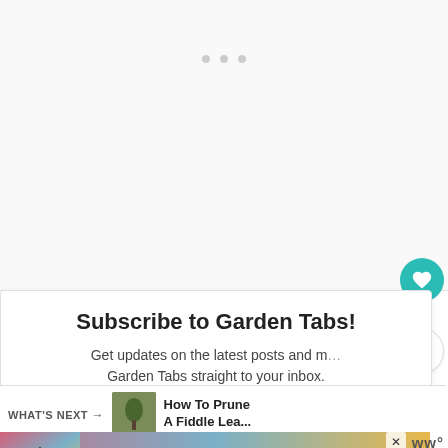[Figure (screenshot): Upper whitish area with three small gray dots arranged horizontally in the center, representing a loading or placeholder carousel]
[Figure (infographic): Teal circular heart/like button with white heart icon, showing count 13 below, and a share button below that]
Subscribe to Garden Tabs!
Get updates on the latest posts and more from Garden Tabs straight to your inbox.
[Figure (infographic): WHAT'S NEXT arrow label with thumbnail image of a plant and text: How To Prune A Fiddle Lea...]
[Figure (infographic): Advertisement banner with a silhouette of hands forming a heart shape against a colorful sunset background and the hashtag #ViralKindness with a close button and WW logo]